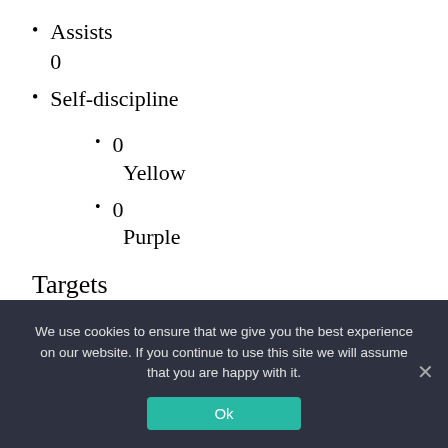Assists
0
Self-discipline
0
Yellow
0
Purple
Targets
0
We use cookies to ensure that we give you the best experience on our website. If you continue to use this site we will assume that you are happy with it.